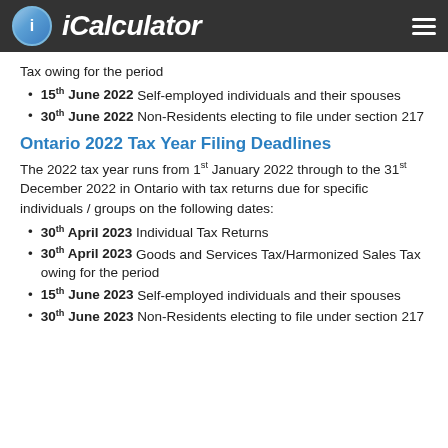iCalculator
Tax owing for the period
15th June 2022 Self-employed individuals and their spouses
30th June 2022 Non-Residents electing to file under section 217
Ontario 2022 Tax Year Filing Deadlines
The 2022 tax year runs from 1st January 2022 through to the 31st December 2022 in Ontario with tax returns due for specific individuals / groups on the following dates:
30th April 2023 Individual Tax Returns
30th April 2023 Goods and Services Tax/Harmonized Sales Tax owing for the period
15th June 2023 Self-employed individuals and their spouses
30th June 2023 Non-Residents electing to file under section 217